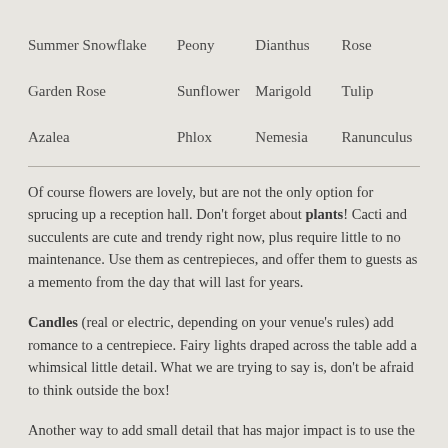| Summer Snowflake | Peony | Dianthus | Rose |
| Garden Rose | Sunflower | Marigold | Tulip |
| Azalea | Phlox | Nemesia | Ranunculus |
Of course flowers are lovely, but are not the only option for sprucing up a reception hall. Don't forget about plants! Cacti and succulents are cute and trendy right now, plus require little to no maintenance. Use them as centrepieces, and offer them to guests as a memento from the day that will last for years.
Candles (real or electric, depending on your venue's rules) add romance to a centrepiece. Fairy lights draped across the table add a whimsical little detail. What we are trying to say is, don't be afraid to think outside the box!
Another way to add small detail that has major impact is to use the